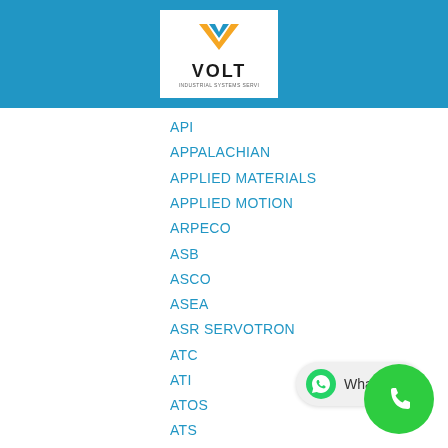[Figure (logo): Volt Industrial Systems logo - white background with orange V chevron and VOLT text]
API
APPALACHIAN
APPLIED MATERIALS
APPLIED MOTION
ARPECO
ASB
ASCO
ASEA
ASR SERVOTRON
ATC
ATI
ATOS
ATS
AUTOCON
AUTOMATED PACKAGING
AUTOMATION IND
AUTOMEC
AVERY LABFI
AXOR
B & B MOTOR